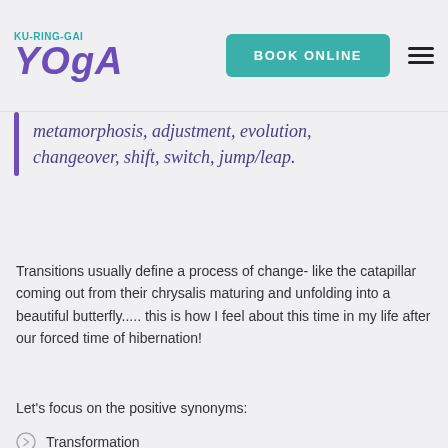Ku-Ring-Gai Yoga | BOOK ONLINE
metamorphosis, adjustment, evolution, changeover, shift, switch, jump/leap.
Transitions usually define a process of change- like the catapillar coming out from their chrysalis maturing and unfolding into a beautiful butterfly..... this is how I feel about this time in my life after our forced time of hibernation!
Let's focus on the positive synonyms:
Transformation
Metamorphosis
Evolution
Growth